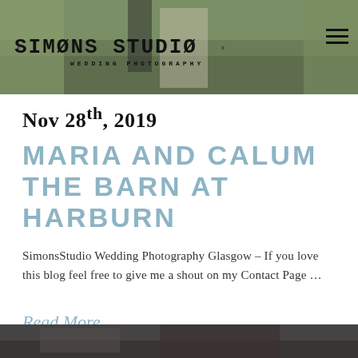[Figure (photo): Wedding photography header image showing a couple in a field, with SimonsStudio Wedding Photography logo overlay and hamburger menu icon]
Nov 28th, 2019
MARIA AND CALUM THE BARN AT HARBURN
SimonsStudio Wedding Photography Glasgow – If you love this blog feel free to give me a shout on my Contact Page …
Read More…
[Figure (photo): Partial view of a wedding photograph at the bottom of the page, dark tones]